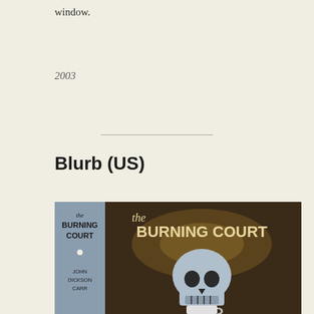window.
2003
Blurb (US)
[Figure (photo): Book cover of 'The Burning Court' by John Dickson Carr, showing a skull with a mug, and the spine of the book on the left side with the title and author name.]